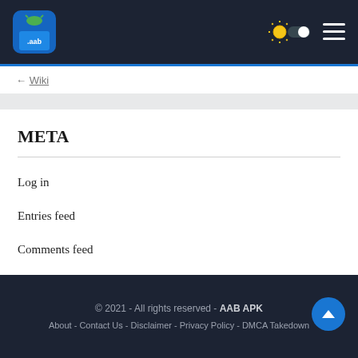AAB APK website header with logo and navigation toggle
META
Log in
Entries feed
Comments feed
WordPress.org
© 2021 - All rights reserved - AAB APK | About - Contact Us - Disclaimer - Privacy Policy - DMCA Takedown